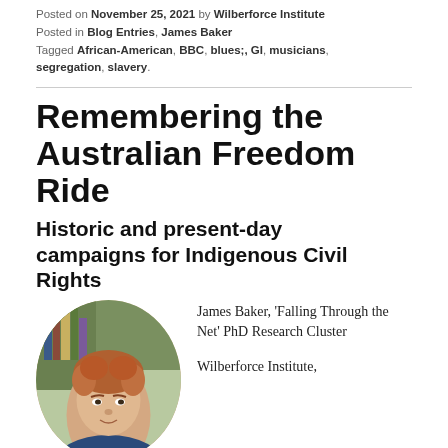Posted on November 25, 2021 by Wilberforce Institute
Posted in Blog Entries, James Baker
Tagged African-American, BBC, blues;, GI, musicians, segregation, slavery.
Remembering the Australian Freedom Ride
Historic and present-day campaigns for Indigenous Civil Rights
[Figure (photo): Circular portrait photo of a young man with curly reddish hair, wearing a dark blue shirt, with a bookshelf in the background.]
James Baker, 'Falling Through the Net' PhD Research Cluster
Wilberforce Institute,